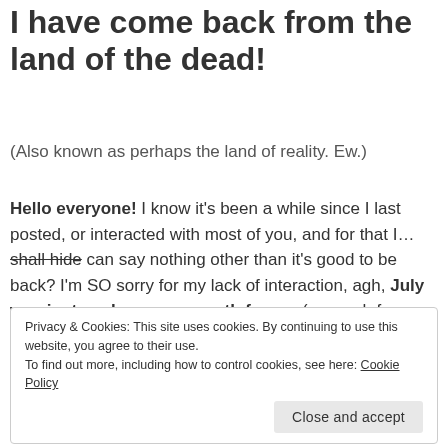I have come back from the land of the dead!
(Also known as perhaps the land of reality. Ew.)
Hello everyone! I know it's been a while since I last posted, or interacted with most of you, and for that I… shall hide can say nothing other than it's good to be back? I'm SO sorry for my lack of interaction, agh, July was just such a crazy month for me (so much for summer vacation SIGH).
Privacy & Cookies: This site uses cookies. By continuing to use this website, you agree to their use.
To find out more, including how to control cookies, see here: Cookie Policy
Close and accept